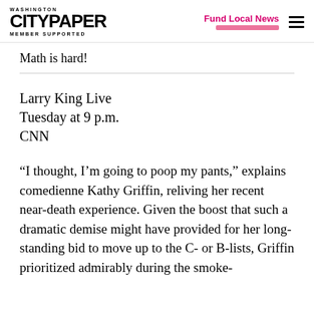Washington City Paper — Member Supported | Fund Local News
Math is hard!
Larry King Live
Tuesday at 9 p.m.
CNN
“I thought, I’m going to poop my pants,” explains comedienne Kathy Griffin, reliving her recent near-death experience. Given the boost that such a dramatic demise might have provided for her long-standing bid to move up to the C- or B-lists, Griffin prioritized admirably during the smoke-